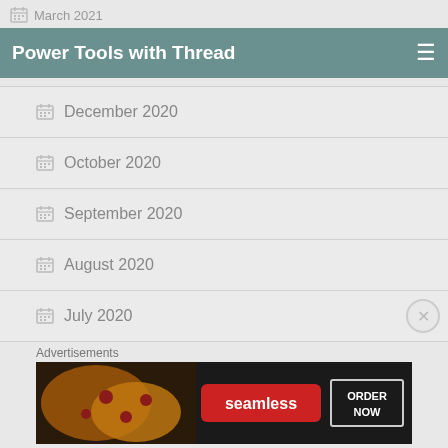March 2021
Power Tools with Thread
February 2021
December 2020
October 2020
September 2020
August 2020
July 2020
June 2020
[Figure (other): Seamless food delivery advertisement banner showing pizza with 'seamless' red logo and 'ORDER NOW' button]
Advertisements